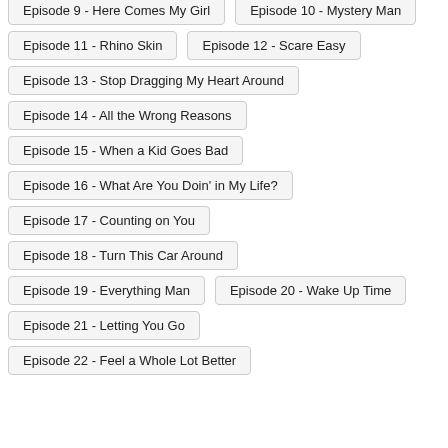Episode 9 - Here Comes My Girl
Episode 10 - Mystery Man
Episode 11 - Rhino Skin
Episode 12 - Scare Easy
Episode 13 - Stop Dragging My Heart Around
Episode 14 - All the Wrong Reasons
Episode 15 - When a Kid Goes Bad
Episode 16 - What Are You Doin' in My Life?
Episode 17 - Counting on You
Episode 18 - Turn This Car Around
Episode 19 - Everything Man
Episode 20 - Wake Up Time
Episode 21 - Letting You Go
Episode 22 - Feel a Whole Lot Better